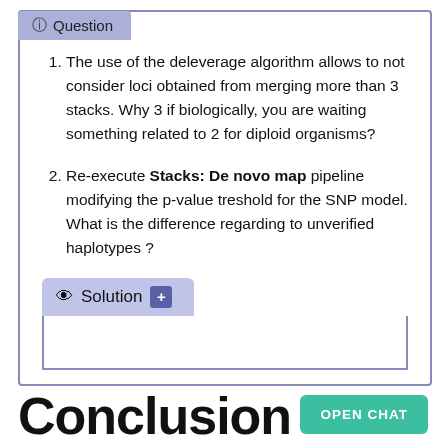Question
The use of the deleverage algorithm allows to not consider loci obtained from merging more than 3 stacks. Why 3 if biologically, you are waiting something related to 2 for diploid organisms?
Re-execute Stacks: De novo map pipeline modifying the p-value treshold for the SNP model. What is the difference regarding to unverified haplotypes ?
Solution
Conclusion